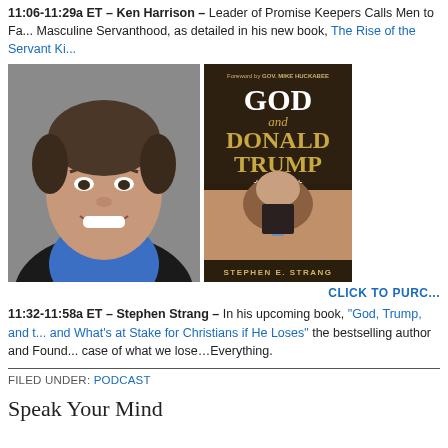11:06-11:29a ET – Ken Harrison – Leader of Promise Keepers Calls Men to Fa... Masculine Servanthood, as detailed in his new book, The Rise of the Servant Ki...
[Figure (photo): Headshot of a smiling man in a blue shirt and dark jacket, professional portrait photo.]
[Figure (photo): Book cover: 'GOD and DONALD TRUMP' by Stephen E. Strang, foreword by Gov. Mike Huckabee. Dark background with gold and white text, photo of Donald Trump below.]
CLICK TO PURC...
11:32-11:58a ET – Stephen Strang – In his upcoming book, "God, Trump, and t... and What's at Stake for Christians if He Loses" the bestselling author and Found... case of what we lose…Everything.
FILED UNDER: PODCAST
Speak Your Mind